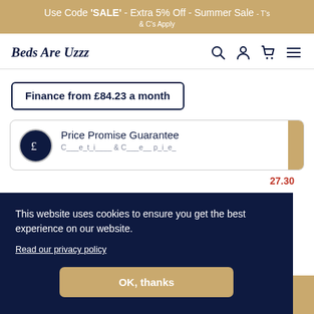Use Code 'SALE' - Extra 5% Off - Summer Sale - T's & C's Apply
Beds Are Uzzz
Finance from £84.23 a month
Price Promise Guarantee
This website uses cookies to ensure you get the best experience on our website. Read our privacy policy
OK, thanks
27.30